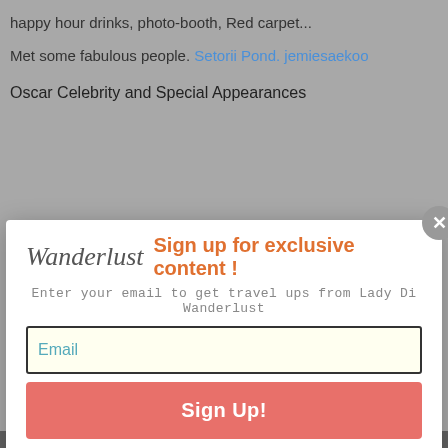happy hour drinks, photo-booth, Red carpet...
Met some fabulous people. Setorii Pond. jemiesaekoo
Oscar Celebrity and Special Appearances
[Figure (screenshot): Modal popup with Wanderlust logo, 'Sign up for exclusive content!' heading in orange, subtitle 'Enter your email to get travel ups from Lady Di Wanderlust', email input field, and red Sign Up! button. Close button (X) in top right.]
Tara J King
Fun night. Thank you David for another memorable evening with Destination Luxury and their best
privacy